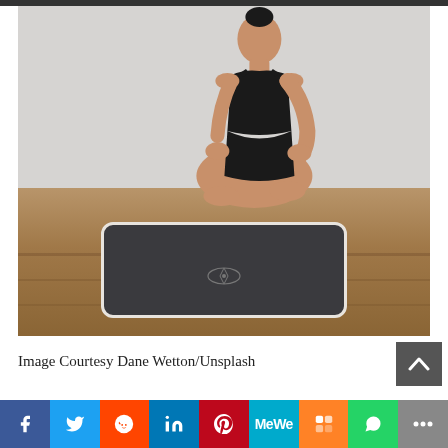[Figure (photo): A woman with dark hair in a bun sits cross-legged in a meditation pose on a dark yoga mat with white border and a logo emblem, on a wooden floor against a light gray wall. She wears a black sports bra and black shorts, eyes closed, hands resting on her knees.]
Image Courtesy Dane Wetton/Unsplash